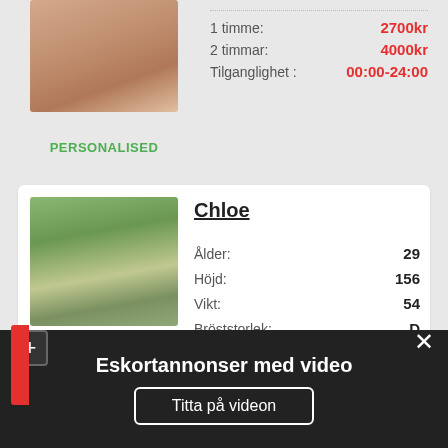1 timme: 2700kr
2 timmar: 4000kr
Tilganglighet: 00:00-24:00
[Figure (photo): Person in red swimwear, crouching on white surface]
PERSONALISED
Chloe
|  |  |
| --- | --- |
| Ålder: | 29 |
| Höjd: | 156 |
| Vikt: | 54 |
| Bröststorlek: | D |
| 1 timme: | 2500kr |
| Plus timmar: | +2000 |
[Figure (photo): Blonde woman outdoors in natural setting]
Eskortannonser med video
Titta på videon